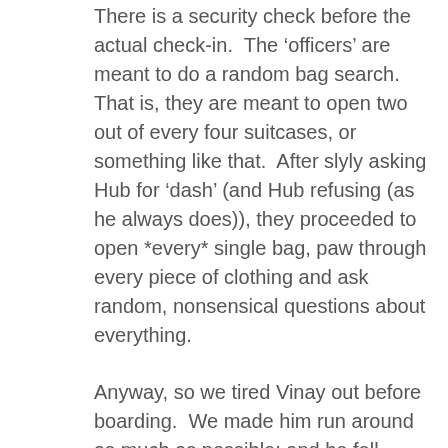There is a security check before the actual check-in. The ‘officers’ are meant to do a random bag search. That is, they are meant to open two out of every four suitcases, or something like that. After slyly asking Hub for ‘dash’ (and Hub refusing (as he always does)), they proceeded to open *every* single bag, paw through every piece of clothing and ask random, nonsensical questions about everything.
Anyway, so we tired Vinay out before boarding. We made him run around as much as possible; and he fell asleep as soon as we boarded. This was great. But it also meant he only slept for the first hour of a six and a half hour flight!
He wasn’t too much trouble though – he had to be walked around and wanted to be let loose, and I